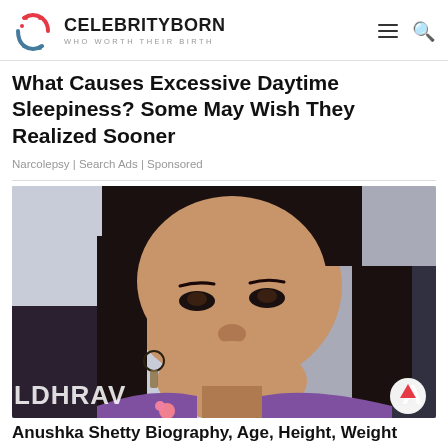CELEBRITYBORN WHO WORTH THEIR BIRTH
What Causes Excessive Daytime Sleepiness? Some May Wish They Realized Sooner
Narcolepsy | Search Ads | Sponsored
[Figure (photo): Portrait photo of Anushka Shetty, an Indian actress, looking at the camera. Visible text overlays: 'LDHRAV' on left side, 'A' on right side. A white circular scroll-up button is visible in the bottom right corner of the image.]
Anushka Shetty Biography, Age, Height, Weight